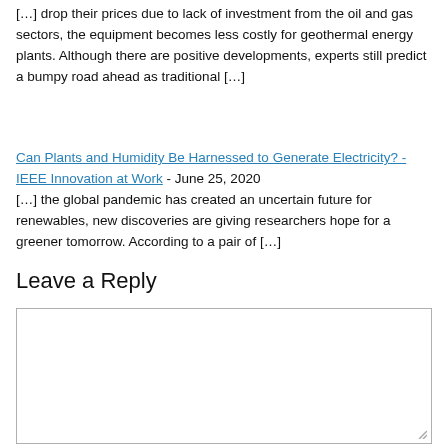[…] drop their prices due to lack of investment from the oil and gas sectors, the equipment becomes less costly for geothermal energy plants. Although there are positive developments, experts still predict a bumpy road ahead as traditional […]
Can Plants and Humidity Be Harnessed to Generate Electricity? - IEEE Innovation at Work - June 25, 2020
[…] the global pandemic has created an uncertain future for renewables, new discoveries are giving researchers hope for a greener tomorrow. According to a pair of […]
Leave a Reply